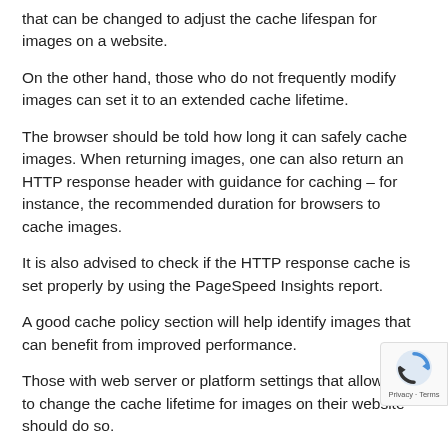that can be changed to adjust the cache lifespan for images on a website.
On the other hand, those who do not frequently modify images can set it to an extended cache lifetime.
The browser should be told how long it can safely cache images. When returning images, one can also return an HTTP response header with guidance for caching – for instance, the recommended duration for browsers to cache images.
It is also advised to check if the HTTP response cache is set properly by using the PageSpeed Insights report.
A good cache policy section will help identify images that can benefit from improved performance.
Those with web server or platform settings that allow them to change the cache lifetime for images on their website should do so.
6. Correctly Sequence Image